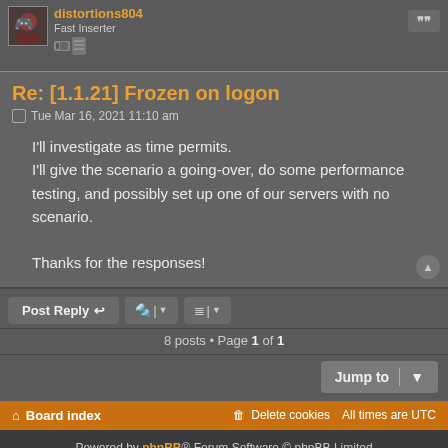distortions804 – Fast Inserter
Re: [1.1.21] Frozen on logon
Tue Mar 16, 2021 11:10 am
I'll investigate as time permits.
I'll give the scenario a going-over, do some performance testing, and possibly set up one of our servers with no scenario.

Thanks for the responses!
Post Reply
8 posts • Page 1 of 1
Jump to
Board index   Delete cookies   All times are UTC
Powered by phpBB® Forum Software © phpBB Limited   Privacy | Terms